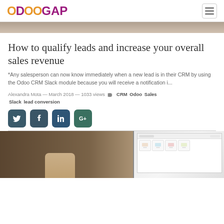OdooGAP
[Figure (photo): Top image strip showing partial photo background]
How to qualify leads and increase your overall sales revenue
*Any salesperson can now know immediately when a new lead is in their CRM by using the Odoo CRM Slack module because you will receive a notification i...
Alexandra Mota — March 2018 — 1033 views  CRM  Odoo  Sales  Slack  lead conversion
[Figure (infographic): Social share buttons: Twitter, Facebook, LinkedIn, Google+]
[Figure (photo): Photo of hands using a laptop showing an e-commerce website]